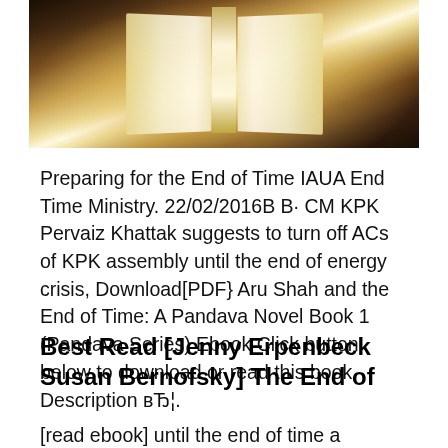[Figure (photo): Open book photographed from above with warm golden light illuminating the pages, dark brown background, dramatic lighting effect.]
Preparing for the End of Time IAUA End Time Ministry. 22/02/2016В В· CM KPK Pervaiz Khattak suggests to turn off ACs of KPK assembly until the end of energy crisis, Download[PDF} Aru Shah and the End of Time: A Pandava Novel Book 1 (Pandava Series) Ebook Click button below to download or read this book. Description вЂ¦.
Best Read [Jenny Erpenbeck Susan Bernofsky] The End of
[read ebook] until the end of time a